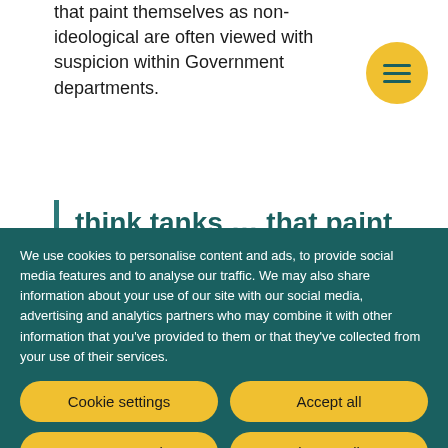that paint themselves as non-ideological are often viewed with suspicion within Government departments.
[Figure (other): Circular yellow menu/hamburger button with three horizontal lines icon in teal color]
think tanks ... that paint themselves as non-ideological
We use cookies to personalise content and ads, to provide social media features and to analyse our traffic. We may also share information about your use of our site with our social media, advertising and analytics partners who may combine it with other information that you've provided to them or that they've collected from your use of their services.
Cookie settings
Accept all
Necessary only
Privacy policy